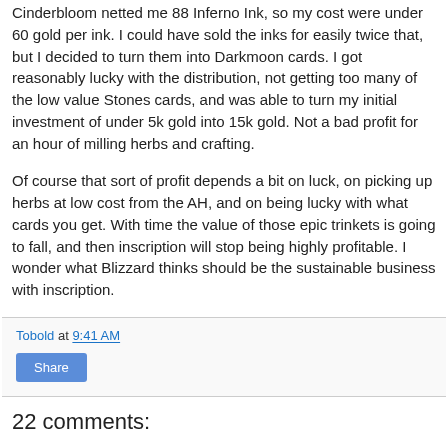Cinderbloom netted me 88 Inferno Ink, so my cost were under 60 gold per ink. I could have sold the inks for easily twice that, but I decided to turn them into Darkmoon cards. I got reasonably lucky with the distribution, not getting too many of the low value Stones cards, and was able to turn my initial investment of under 5k gold into 15k gold. Not a bad profit for an hour of milling herbs and crafting.
Of course that sort of profit depends a bit on luck, on picking up herbs at low cost from the AH, and on being lucky with what cards you get. With time the value of those epic trinkets is going to fall, and then inscription will stop being highly profitable. I wonder what Blizzard thinks should be the sustainable business with inscription.
Tobold at 9:41 AM
Share
22 comments: